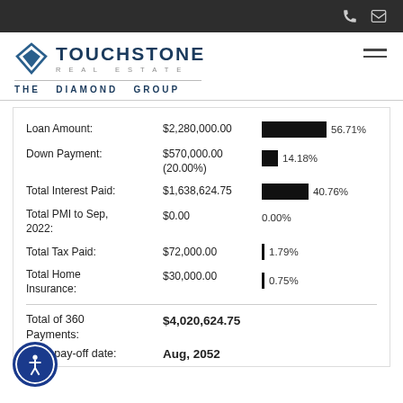[Figure (logo): TouchStone Real Estate - The Diamond Group logo with diamond icon]
| Field | Value | Percentage |
| --- | --- | --- |
| Loan Amount: | $2,280,000.00 | 56.71% |
| Down Payment: | $570,000.00 (20.00%) | 14.18% |
| Total Interest Paid: | $1,638,624.75 | 40.76% |
| Total PMI to Sep, 2022: | $0.00 | 0.00% |
| Total Tax Paid: | $72,000.00 | 1.79% |
| Total Home Insurance: | $30,000.00 | 0.75% |
Total of 360 Payments: $4,020,624.75
Loan pay-off date: Aug, 2052